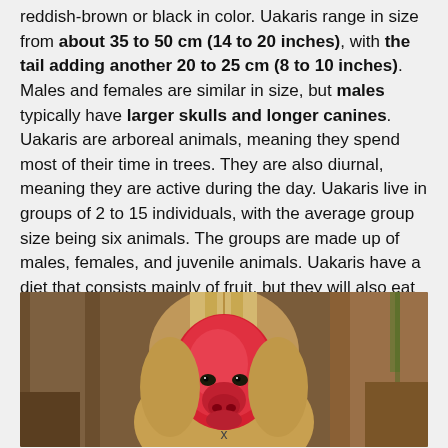reddish-brown or black in color. Uakaris range in size from about 35 to 50 cm (14 to 20 inches), with the tail adding another 20 to 25 cm (8 to 10 inches). Males and females are similar in size, but males typically have larger skulls and longer canines. Uakaris are arboreal animals, meaning they spend most of their time in trees. They are also diurnal, meaning they are active during the day. Uakaris live in groups of 2 to 15 individuals, with the average group size being six animals. The groups are made up of males, females, and juvenile animals. Uakaris have a diet that consists mainly of fruit, but they will also eat leaves, nuts, and insects.
[Figure (photo): Close-up photograph of a Uakari monkey with a distinctive bright red face, surrounded by brownish fur. Other animals or tree trunks visible in the background.]
x